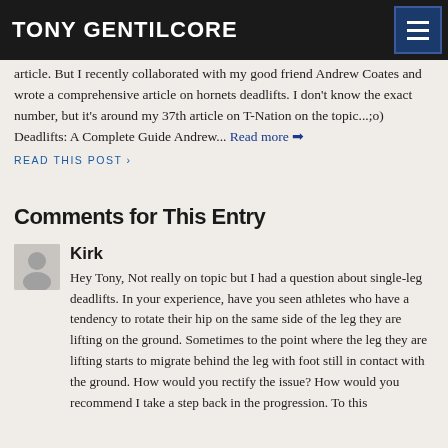TONY GENTILCORE
article. But I recently collaborated with my good friend Andrew Coates and wrote a comprehensive article on hornets deadlifts. I don't know the exact number, but it's around my 37th article on T-Nation on the topic...;o) Deadlifts: A Complete Guide Andrew... Read more ❯
READ THIS POST ›
Comments for This Entry
Kirk
Hey Tony, Not really on topic but I had a question about single-leg deadlifts. In your experience, have you seen athletes who have a tendency to rotate their hip on the same side of the leg they are lifting on the ground. Sometimes to the point where the leg they are lifting starts to migrate behind the leg with foot still in contact with the ground. How would you rectify the issue? How would you recommend I take a step back in the progression. To this